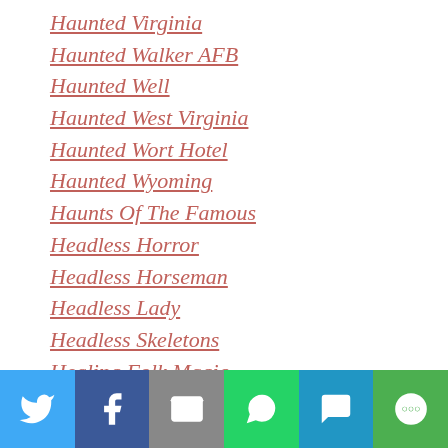Haunted Virginia
Haunted Walker AFB
Haunted Well
Haunted West Virginia
Haunted Wort Hotel
Haunted Wyoming
Haunts Of The Famous
Headless Horror
Headless Horseman
Headless Lady
Headless Skeletons
Healing Folk Magic
Hell Hound
Hell House
Hell Mary
Hell's Kitchen